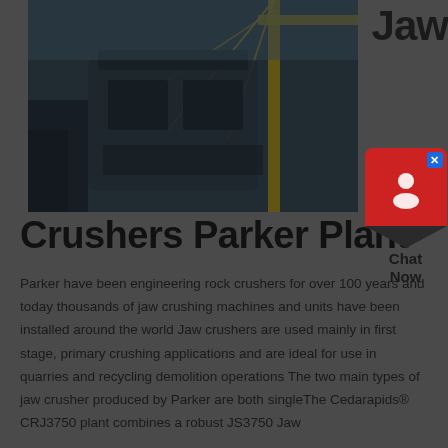[Figure (photo): Industrial crane lifting heavy jaw crusher equipment against a sky background, photographed at dusk or in low light conditions. The machinery appears dark/silhouetted.]
Jaw
Crushers Parker Plant
Parker have been engineering rock crushers for over 100 years and today thousands of jaw crushing machines and units have been installed around the world Jaw crushers are used mainly in first stage, primary crushing applications and are ideal for use in quarries and recycling demolition operations The two main types of jaw crusher produced by Parker are both singleThe Cedarapids® CRJ3750 plant combines a robust JS3750 Jaw